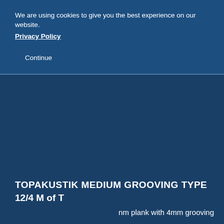We are using cookies to give you the best experience on our website. Privacy Policy
Continue
TOPAKUSTIK MEDIUM GROOVING TYPE
12/4 M of T
nm plank with 4mm grooving